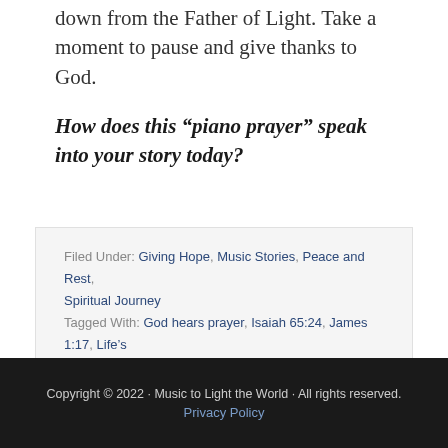down from the Father of Light. Take a moment to pause and give thanks to God.
How does this “piano prayer” speak into your story today?
Filed Under: Giving Hope, Music Stories, Peace and Rest, Spiritual Journey
Tagged With: God hears prayer, Isaiah 65:24, James 1:17, Life’s Blessings, Piano Prayer, rivers of light, Unveiled
Copyright © 2022 · Music to Light the World · All rights reserved.
Privacy Policy